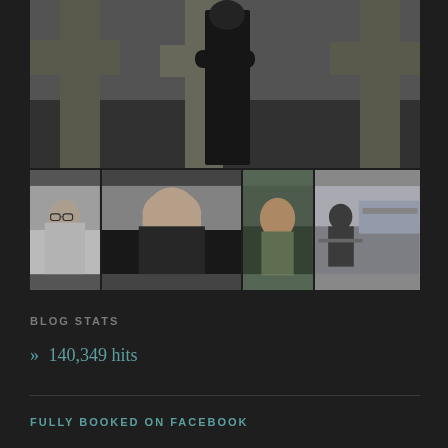[Figure (photo): Large black and white photo at top showing a person in dark clothing leaning against concrete/stone cross-shaped sculptures outdoors]
[Figure (photo): Bottom row of four portrait thumbnail photos: young man with glasses in black and white; man with sharp features in close-up; bearded younger man; older man sitting on bench outdoors in black and white]
BLOG STATS
» 140,349 hits
FULLY BOOKED ON FACEBOOK